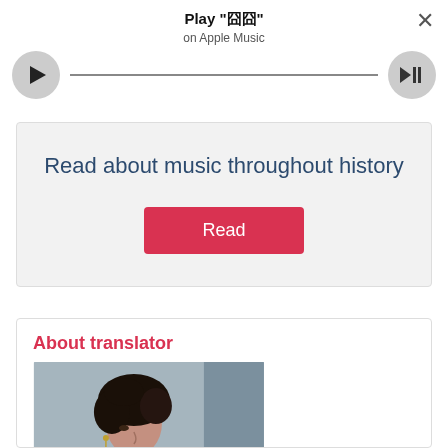[Figure (screenshot): Apple Music player bar with play button, progress bar, volume button, close button. Title: Play "囧囧" on Apple Music]
Read about music throughout history
Read
About translator
[Figure (photo): Black and white or muted-color photo of a person with dark curly hair, looking downward, wearing an earring]